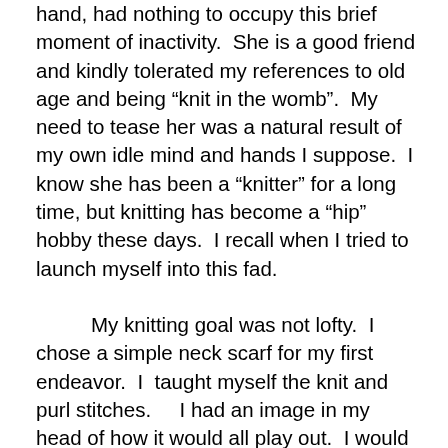hand, had nothing to occupy this brief moment of inactivity.  She is a good friend and kindly tolerated my references to old age and being “knit in the womb”.  My need to tease her was a natural result of my own idle mind and hands I suppose.  I know she has been a “knitter” for a long time, but knitting has become a “hip” hobby these days.  I recall when I tried to launch myself into this fad.

	My knitting goal was not lofty.  I chose a simple neck scarf for my first endeavor.  I  taught myself the knit and purl stitches.    I had an image in my head of how it would all play out.  I would carry my project and knitting needles in a tote bag with me everywhere I went.  Doctor’s waiting rooms, teacher meetings, kid’s sporting events, would all be good times to pull out my project and “cast a few on” (that’s knitter’s speak for knit a few more rows onto the scarf).  I saw myself as a “cool” mom who multi tasked and